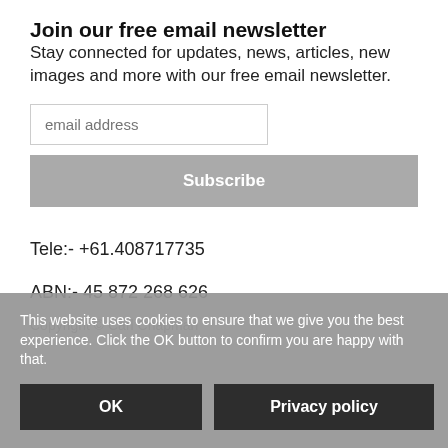Join our free email newsletter
Stay connected for updates, news, articles, new images and more with our free email newsletter.
[Figure (screenshot): Email address input field with placeholder text 'email address' and a grey Subscribe button below it]
Tele:- +61.408717735
ABN:- 45 872 268 626
Copyright © Carl Chapman
This website uses cookies to ensure that we give you the best experience. Click the OK button to confirm you are happy with that.
OK
Privacy policy